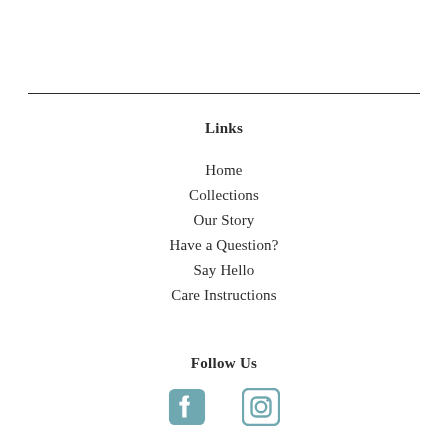Links
Home
Collections
Our Story
Have a Question?
Say Hello
Care Instructions
Follow Us
[Figure (illustration): Facebook and Instagram social media icons in teal/muted blue color]